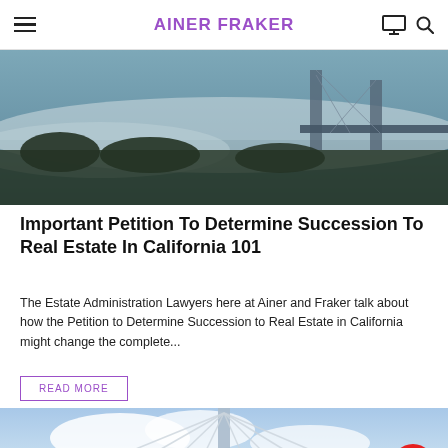AINER FRAKER
[Figure (photo): Aerial photo of a bridge in fog with water below]
Important Petition To Determine Succession To Real Estate In California 101
The Estate Administration Lawyers here at Ainer and Fraker talk about how the Petition to Determine Succession to Real Estate in California might change the complete...
READ MORE
[Figure (photo): Suspension bridge with cables and blue sky background]